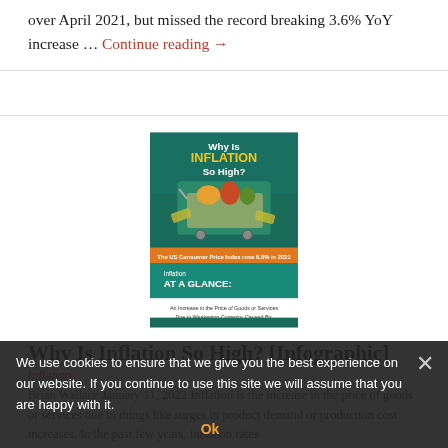over April 2021, but missed the record breaking 3.6% YoY increase … Continue reading →
[Figure (infographic): Infographic titled 'Why Is INFLATION So High?' showing a shopping cart overflowing with groceries and money, with a section labeled 'Inflation AT A GLANCE:' and subtitle 'An Increase in the Price of Goods or Services Due to Weakening Currency, Caused By:']
Why Is Inflation So High? [Infographic]
Inflation
Brian Wallace January 11, 2022 Inflation is the increase in the price of goods or services due to things like surges in product demand or production cost increases. In the past few years, inflation rates
We use cookies to ensure that we give you the best experience on our website. If you continue to use this site we will assume that you are happy with it.